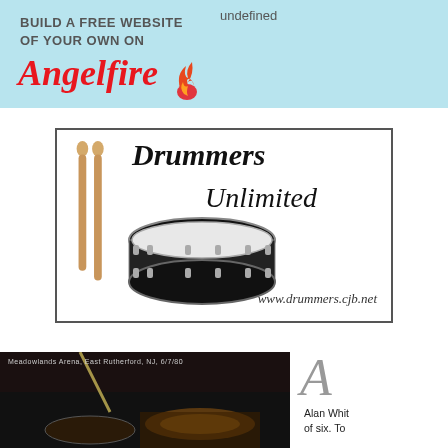[Figure (screenshot): Angelfire banner ad: light blue background with text 'BUILD A FREE WEBSITE OF YOUR OWN ON Angelfire' with flame logo. 'undefined' text in upper right of banner.]
[Figure (illustration): Drummers Unlimited logo ad with drumsticks on left, snare drum in center, script text 'Drummers Unlimited' and URL 'www.drummers.cjb.net']
[Figure (photo): Dark concert photo of drum kit, labeled 'Meadowlands Arena, East Rutherford, NJ, 6/7/80' at top]
Alan Whit... of six. To...